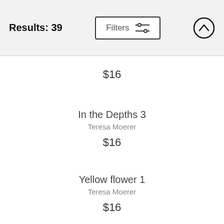Results: 39
$16
In the Depths 3
Teresa Moerer
$16
Yellow flower 1
Teresa Moerer
$16